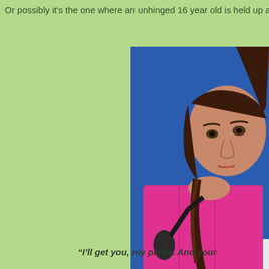Or possibly it's the one where an unhinged 16 year old is held up a
[Figure (photo): A young woman with dark braided hair wearing a bright pink top, speaking at a podium with a microphone, against a blue background.]
“I’ll get you, my pretty. And your